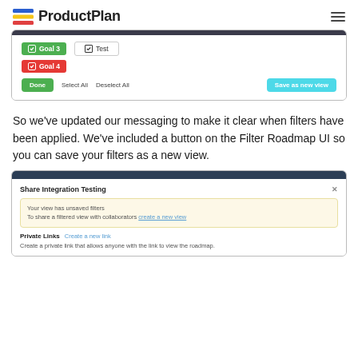ProductPlan
[Figure (screenshot): Screenshot of ProductPlan filter UI showing Goal 3 (green chip), Test (checkbox chip), Goal 4 (red chip), and buttons: Done, Select All, Deselect All, Save as new view]
So we've updated our messaging to make it clear when filters have been applied. We've included a button on the Filter Roadmap UI so you can save your filters as a new view.
[Figure (screenshot): Screenshot of ProductPlan 'Share Integration Testing' dialog showing unsaved filters warning with 'create a new view' link, and Private Links section with 'Create a new link' option and description 'Create a private link that allows anyone with the link to view the roadmap.']